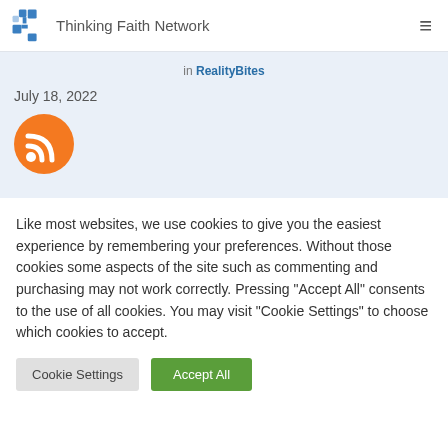Thinking Faith Network
in RealityBites
July 18, 2022
[Figure (logo): Orange circle RSS feed icon]
Like most websites, we use cookies to give you the easiest experience by remembering your preferences. Without those cookies some aspects of the site such as commenting and purchasing may not work correctly. Pressing "Accept All" consents to the use of all cookies. You may visit "Cookie Settings" to choose which cookies to accept.